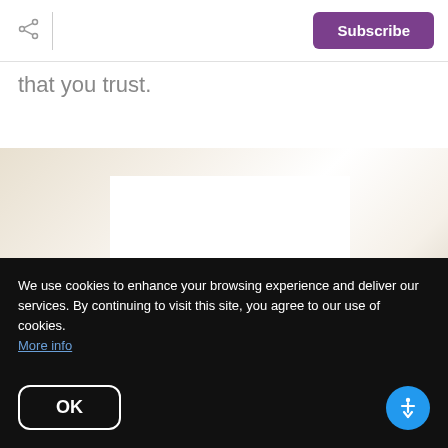Subscribe
that you trust.
[Figure (photo): A partially visible interior room photo with warm neutral tones, showing what appears to be a doorway or window area with light background colors.]
We're here for you
We use cookies to enhance your browsing experience and deliver our services. By continuing to visit this site, you agree to our use of cookies. More info
OK